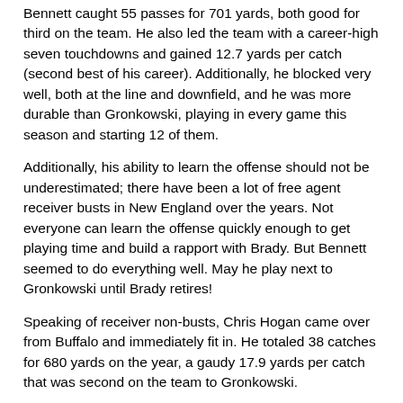Bennett caught 55 passes for 701 yards, both good for third on the team. He also led the team with a career-high seven touchdowns and gained 12.7 yards per catch (second best of his career). Additionally, he blocked very well, both at the line and downfield, and he was more durable than Gronkowski, playing in every game this season and starting 12 of them.
Additionally, his ability to learn the offense should not be underestimated; there have been a lot of free agent receiver busts in New England over the years. Not everyone can learn the offense quickly enough to get playing time and build a rapport with Brady. But Bennett seemed to do everything well. May he play next to Gronkowski until Brady retires!
Speaking of receiver non-busts, Chris Hogan came over from Buffalo and immediately fit in. He totaled 38 catches for 680 yards on the year, a gaudy 17.9 yards per catch that was second on the team to Gronkowski.
The last rookie receiver who had the same impact as